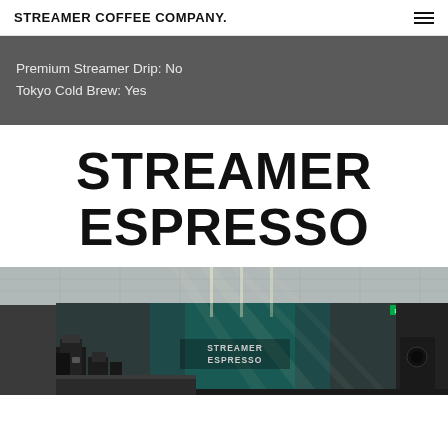STREAMER COFFEE COMPANY.
Premium Streamer Drip: No
Tokyo Cold Brew: Yes
STREAMER ESPRESSO
[Figure (photo): Interior of Streamer Espresso coffee shop with teal/green accent lighting, espresso machines visible on left, 'STREAMER ESPRESSO' signage on the back wall, diagonal light beams across the ceiling.]